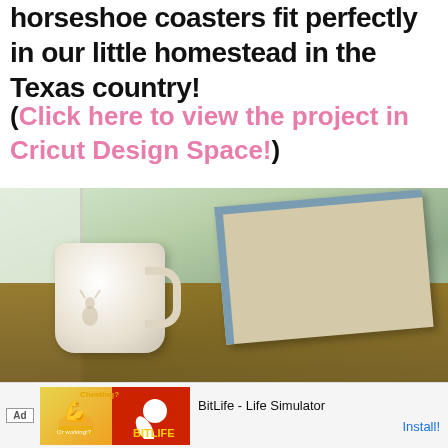horseshoe coasters fit perfectly in our little homestead in the Texas country!
(Click here to view the project in Cricut Design Space!)
[Figure (photo): Photo of a white ceramic coffee mug with a deer/animal design sitting on a wooden table next to a hardcover book with a blue/teal spine, with greenery visible through a window in the background.]
[Figure (other): Advertisement banner for BitLife - Life Simulator app, showing ad label, two app icon tiles (yellow/orange with muscle/cheating theme and red with sperm logo), and Install button.]